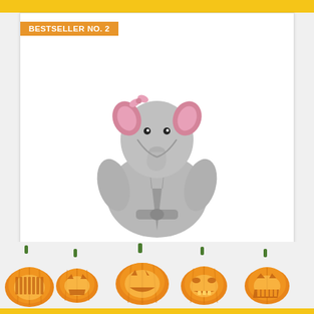BESTSELLER NO. 2
[Figure (photo): Gray plush elephant hooded baby robe with pink ears and bow, full body view on white background]
Hudson Baby Unisex Baby Plush Animal Face Robe,.
[Figure (illustration): Row of six carved Halloween jack-o-lantern pumpkins with glowing faces]